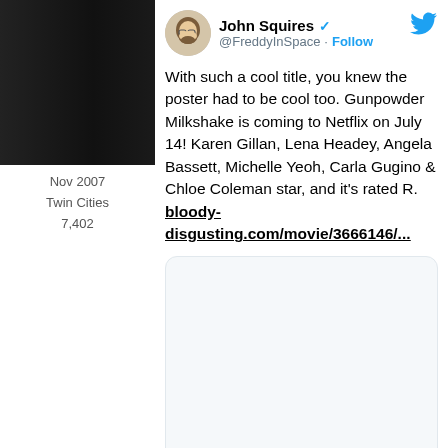[Figure (photo): Dark/black profile image on left sidebar]
Nov 2007
Twin Cities
7,402
[Figure (screenshot): Twitter bird logo top right]
John Squires @FreddyInSpace · Follow
With such a cool title, you knew the poster had to be cool too. Gunpowder Milkshake is coming to Netflix on July 14! Karen Gillan, Lena Headey, Angela Bassett, Michelle Yeoh, Carla Gugino & Chloe Coleman star, and it's rated R. bloody-disgusting.com/movie/3666146/...
[Figure (photo): Media card / embedded image area (blank/white)]